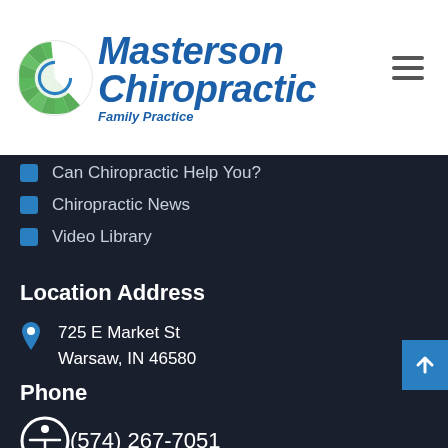[Figure (logo): Masterson Chiropractic Family Practice logo with green spiral/sun icon and blue bold italic text]
Can Chiropractic Help You?
Chiropractic News
Video Library
Location Address
725 E Market St
Warsaw, IN 46580
Phone
(574) 267-7051